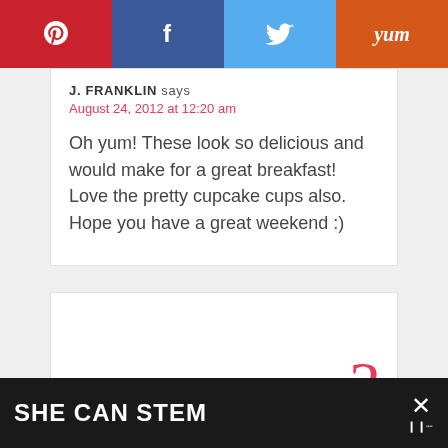[Figure (other): Social sharing bar with Pinterest (red), Facebook (dark blue), Twitter (light blue), Yummly (orange) buttons]
J. FRANKLIN says
August 24, 2012 at 12:20 am
Oh yum! These look so delicious and would make for a great breakfast! Love the pretty cupcake cups also. Hope you have a great weekend :)
[Figure (other): Partial comment card with pink number 3]
[Figure (other): SHE CAN STEM advertisement banner at bottom with X close button]